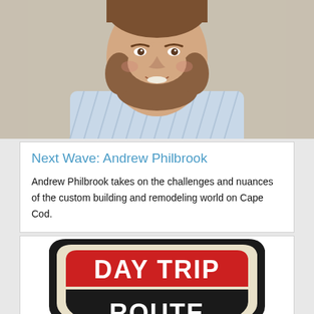[Figure (photo): Headshot of Andrew Philbrook, a bearded smiling man wearing a light blue striped shirt and tie.]
Next Wave: Andrew Philbrook
Andrew Philbrook takes on the challenges and nuances of the custom building and remodeling world on Cape Cod.
[Figure (logo): A highway shield sign graphic with red top section reading 'DAY TRIP' in white bold letters and black bottom section reading 'ROUTE' in white bold letters, with a cream/white border outline.]